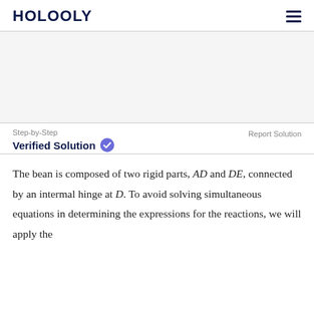HOLOOLY
Step-by-Step   Verified Solution ✓   Report Solution
The bean is composed of two rigid parts, AD and DE, connected by an intermal hinge at D. To avoid solving simultaneous equations in determining the expressions for the reactions, we will apply the